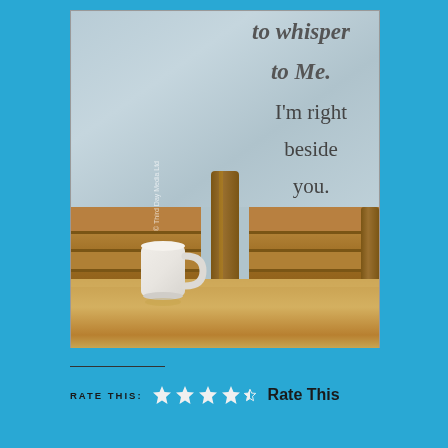[Figure (photo): A photo showing a wooden table and chairs against a light blue-grey textured wall. On the right side of the wall there is cursive and regular text reading 'to whisper to Me. I'm right beside you.' A white ceramic mug sits on the table in the lower left. A watermark reading '© Third Day Media Ltd' is visible on the left side of the photo.]
RATE THIS:
[Figure (other): Four filled stars and one partial (half) star rating widget followed by a 'Rate This' link]
Rate This